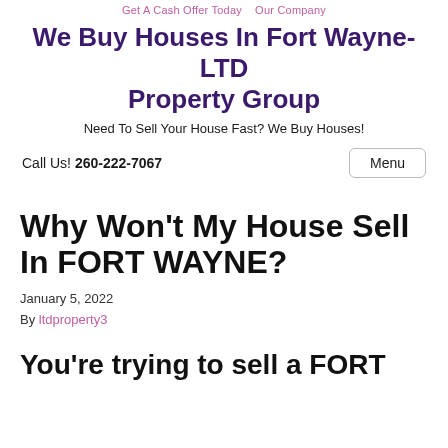Get A Cash Offer Today   Our Company
We Buy Houses In Fort Wayne- LTD Property Group
Need To Sell Your House Fast? We Buy Houses!
Call Us! 260-222-7067
Why Won't My House Sell In FORT WAYNE?
January 5, 2022
By ltdproperty3
You're trying to sell a FORT